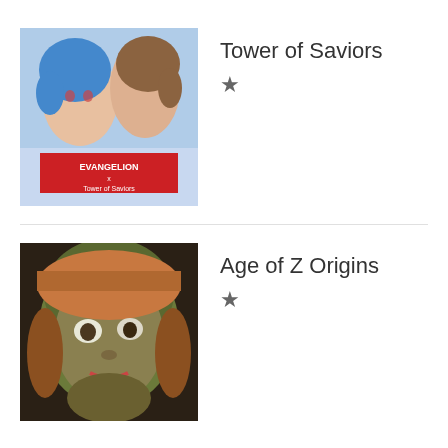[Figure (screenshot): App icon for Tower of Saviors showing anime characters and Evangelion crossover text]
Tower of Saviors
[Figure (screenshot): App icon for Age of Z Origins showing a zombie-like face of a young person]
Age of Z Origins
ads by google